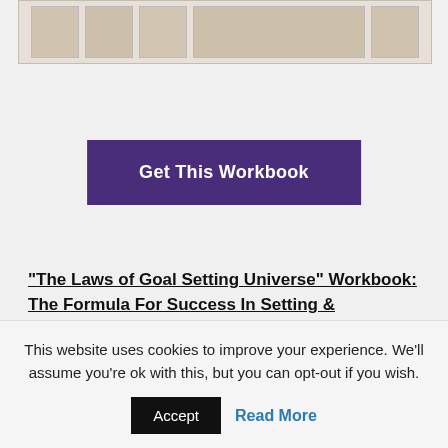[Figure (illustration): Partial view of workbook pages/thumbnails shown at top of page]
Get This Workbook
“The Laws of Goal Setting Universe” Workbook: The Formula For Success In Setting & Achieving Goals” is a 100-page workbook designed to help you create a crystal clear vision of your future, set the right goals (in alignment with your
This website uses cookies to improve your experience. We'll assume you're ok with this, but you can opt-out if you wish.
Accept
Read More